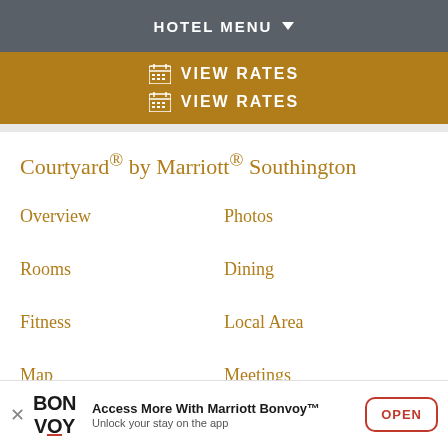HOTEL MENU
VIEW RATES
VIEW RATES
Courtyard® by Marriott® Southington
Overview
Photos
Rooms
Dining
Fitness
Local Area
Map
Meetings
Access More With Marriott Bonvoy™
Unlock your stay on the app